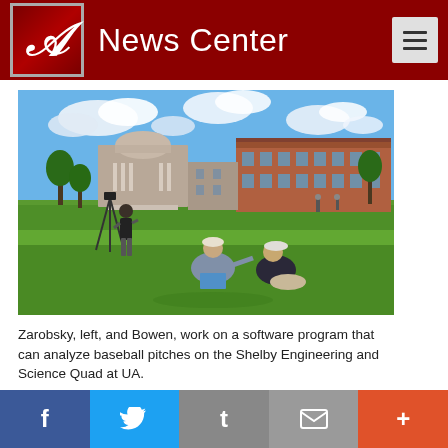A News Center
[Figure (photo): Students working on a campus quad. One student stands with a camera on a tripod (Zarobsky), and two others sit on the grass with a laptop (Bowen). Background shows brick buildings and a domed building under a sunny sky with clouds.]
Zarobsky, left, and Bowen, work on a software program that can analyze baseball pitches on the Shelby Engineering and Science Quad at UA.
f (Facebook) | Twitter | t (Tumblr) | email | +